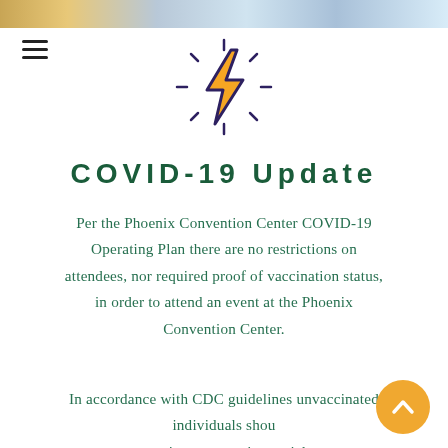[Figure (illustration): Decorative header image strip with blurred colorful background]
[Figure (illustration): Lightning bolt icon with yellow/orange bolt and dark purple outline, with small dash marks radiating outward]
COVID-19 Update
Per the Phoenix Convention Center COVID-19 Operating Plan there are no restrictions on attendees, nor required proof of vaccination status, in order to attend an event at the Phoenix Convention Center.
In accordance with CDC guidelines unvaccinated individuals shou continue to practice social